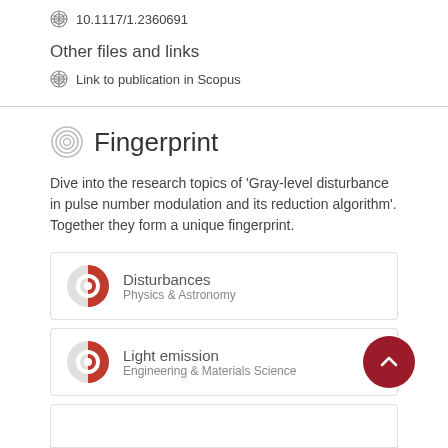10.1117/1.2360691
Other files and links
Link to publication in Scopus
Fingerprint
Dive into the research topics of 'Gray-level disturbance in pulse number modulation and its reduction algorithm'. Together they form a unique fingerprint.
Disturbances
Physics & Astronomy
Light emission
Engineering & Materials Science